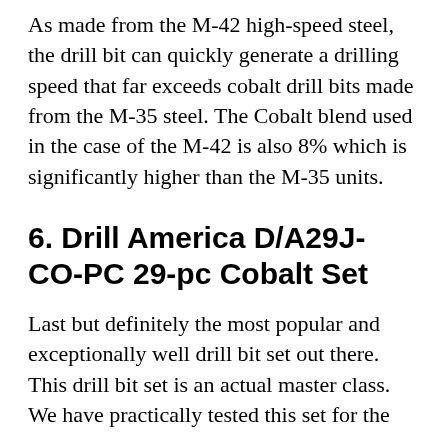As made from the M-42 high-speed steel, the drill bit can quickly generate a drilling speed that far exceeds cobalt drill bits made from the M-35 steel. The Cobalt blend used in the case of the M-42 is also 8% which is significantly higher than the M-35 units.
6. Drill America D/A29J-CO-PC 29-pc Cobalt Set
Last but definitely the most popular and exceptionally well drill bit set out there. This drill bit set is an actual master class. We have practically tested this set for the